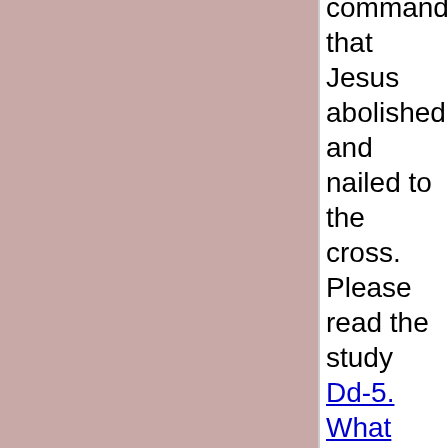[Figure (other): Left panel with solid dusty rose/mauve background color filling approximately 71% of the page width]
commandments that Jesus abolished and nailed to the cross. Please read the study Dd-5. What Does Contained in ORDINANCES Mean?